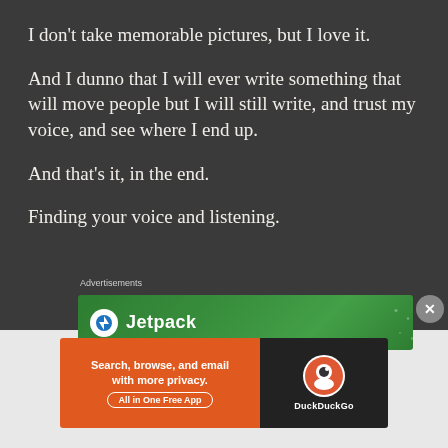I don’t take memorable pictures, but I love it.
And I dunno that I will ever write something that will move people but I will still write, and trust my voice, and see where I end up.
And that’s it, in the end.
Finding your voice and listening.
[Figure (screenshot): Jetpack advertisement banner with green background and Jetpack logo and text]
[Figure (screenshot): DuckDuckGo advertisement banner with orange left section and dark right section showing DuckDuckGo logo and text: Search, browse, and email with more privacy. All in One Free App]